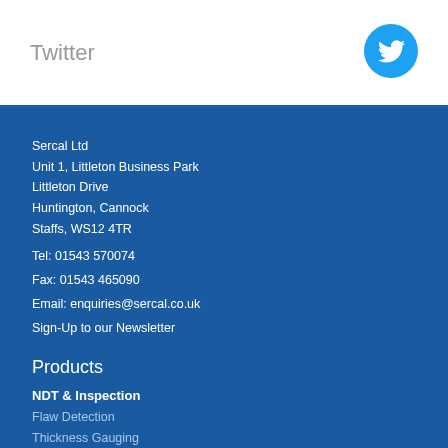Twitter
[Figure (logo): Twitter bird logo icon in light blue circle]
Sercal Ltd
Unit 1, Littleton Business Park
Littleton Drive
Huntington, Cannock
Staffs, WS12 4TR
Tel: 01543 570074
Fax: 01543 465090
Email: enquiries@sercal.co.uk
Sign-Up to our Newsletter
Products
NDT & Inspection
Flaw Detection
Thickness Gauging
Visual Inspection
Hardness Testing